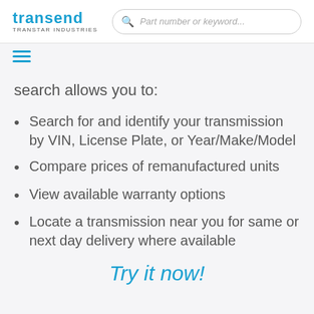transend TRANSTAR INDUSTRIES — Part number or keyword...
search allows you to:
Search for and identify your transmission by VIN, License Plate, or Year/Make/Model
Compare prices of remanufactured units
View available warranty options
Locate a transmission near you for same or next day delivery where available
Try it now!